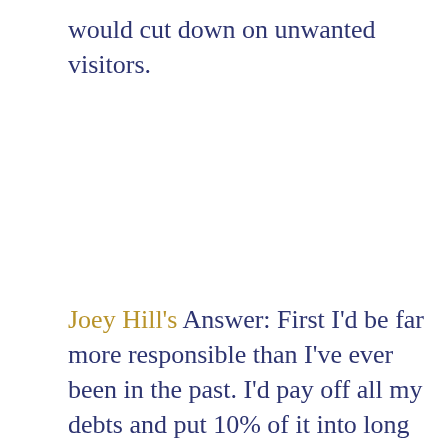would cut down on unwanted visitors.
Joey Hill's Answer: First I'd be far more responsible than I've ever been in the past. I'd pay off all my debts and put 10% of it into long term savings so I could more comfortably weather economic crisis, just as my